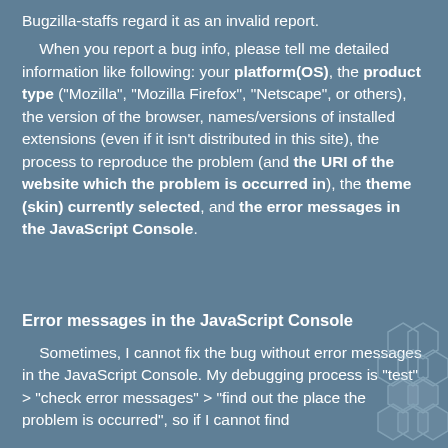Bugzilla-staffs regard it as an invalid report.
When you report a bug info, please tell me detailed information like following: your platform(OS), the product type ("Mozilla", "Mozilla Firefox", "Netscape", or others), the version of the browser, names/versions of installed extensions (even if it isn't distributed in this site), the process to reproduce the problem (and the URI of the website which the problem is occurred in), the theme (skin) currently selected, and the error messages in the JavaScript Console.
Error messages in the JavaScript Console
Sometimes, I cannot fix the bug without error messages in the JavaScript Console. My debugging process is "test" > "check error messages" > "find out the place the problem is occurred", so if I cannot find